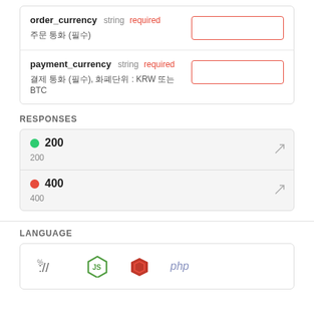| Parameter | Type | Required | Input |
| --- | --- | --- | --- |
| order_currency | string | required |  |
| payment_currency | string | required |  |
RESPONSES
200
200
400
400
LANGUAGE
[Figure (other): Language selector icons: URL (curl), Node.js, Ruby, PHP]